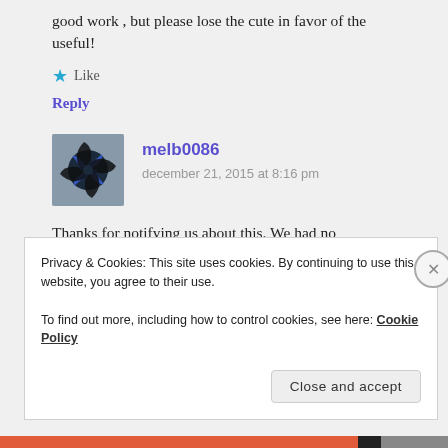good work , but please lose the cute in favor of the useful!
★ Like
Reply
melb0086
december 21, 2015 at 8:16 pm
Thanks for notifying us about this. We had no
Privacy & Cookies: This site uses cookies. By continuing to use this website, you agree to their use.
To find out more, including how to control cookies, see here: Cookie Policy
Close and accept